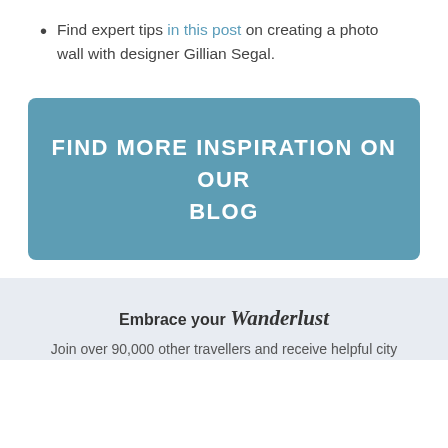Find expert tips in this post on creating a photo wall with designer Gillian Segal.
FIND MORE INSPIRATION ON OUR BLOG
Embrace your Wanderlust
Join over 90,000 other travellers and receive helpful city